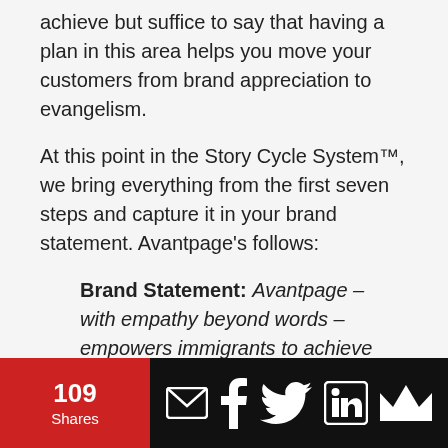achieve but suffice to say that having a plan in this area helps you move your customers from brand appreciation to evangelism.
At this point in the Story Cycle System™, we bring everything from the first seven steps and capture it in your brand statement. Avantpage's follows:
Brand Statement: Avantpage – with empathy beyond words – empowers immigrants to achieve their American dream through trusted language translations. We help them grasp the nature and significance of an ideal or issue, strive
109 Shares